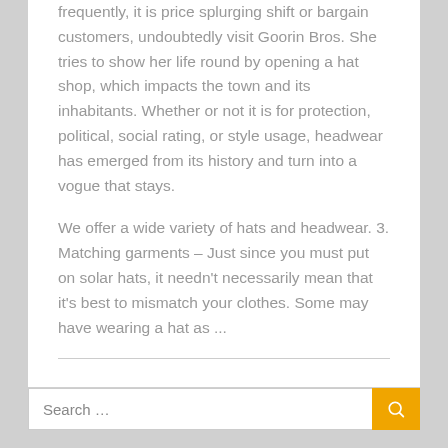frequently, it is price splurging shift or bargain customers, undoubtedly visit Goorin Bros. She tries to show her life round by opening a hat shop, which impacts the town and its inhabitants. Whether or not it is for protection, political, social rating, or style usage, headwear has emerged from its history and turn into a vogue that stays.
We offer a wide variety of hats and headwear. 3. Matching garments – Just since you must put on solar hats, it needn't necessarily mean that it's best to mismatch your clothes. Some may have wearing a hat as ...